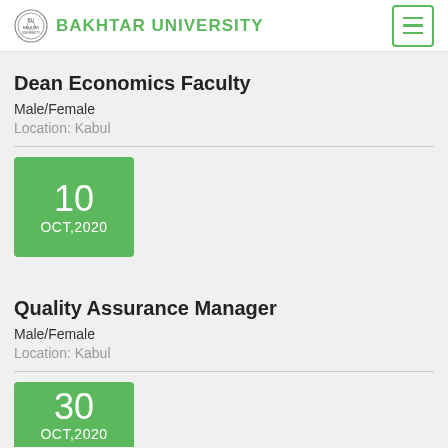BAKHTAR UNIVERSITY
Dean Economics Faculty
Male/Female
Location: Kabul
[Figure (other): Green date box showing 10 OCT,2020]
Quality Assurance Manager
Male/Female
Location: Kabul
[Figure (other): Green date box showing 30 OCT,2020 (partially visible)]